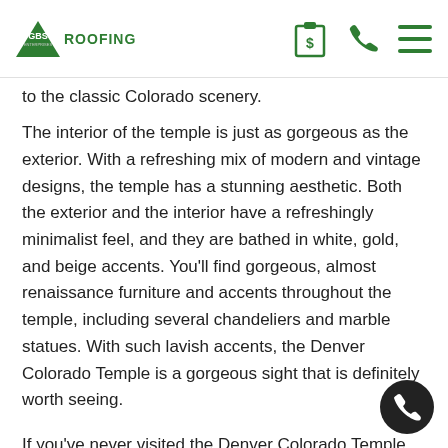GBS Enterprises ROOFING — header with clipboard dollar icon, phone icon, and menu icon
to the classic Colorado scenery.
The interior of the temple is just as gorgeous as the exterior. With a refreshing mix of modern and vintage designs, the temple has a stunning aesthetic. Both the exterior and the interior have a refreshingly minimalist feel, and they are bathed in white, gold, and beige accents. You'll find gorgeous, almost renaissance furniture and accents throughout the temple, including several chandeliers and marble statues. With such lavish accents, the Denver Colorado Temple is a gorgeous sight that is definitely worth seeing.
If you've never visited the Denver Colorado Temple, then you should definitely consider visiting this gorgeous religious center with your friends and family! If you are a member of the Mormon faith, then you'll find great